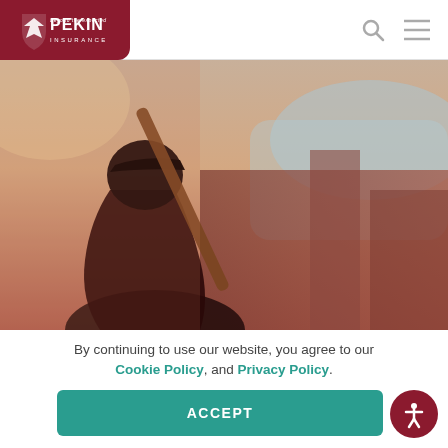Pekin Insurance
[Figure (photo): Silhouette of a youth baseball player holding a bat over their shoulder, backlit by warm sunset light with a blurred background of buildings and blue sky]
By continuing to use our website, you agree to our Cookie Policy, and Privacy Policy.
ACCEPT